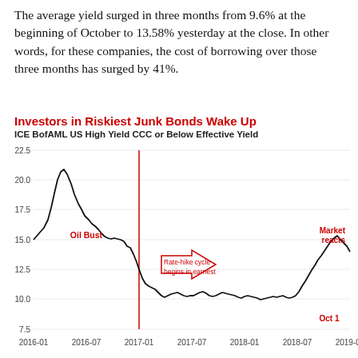The average yield surged in three months from 9.6% at the beginning of October to 13.58% yesterday at the close. In other words, for these companies, the cost of borrowing over those three months has surged by 41%.
Investors in Riskiest Junk Bonds Wake Up
ICE BofAML US High Yield CCC or Below Effective Yield
[Figure (continuous-plot): Line chart of ICE BofAML US High Yield CCC or Below Effective Yield from 2016-01 to 2019-01. The yield starts around 14% in early 2016, peaks near 22% during the Oil Bust period in early 2016, then declines sharply to about 12% by late 2016/early 2017. A vertical red line marks 2017-01 labeled 'Rate-hike cycle begins in earnest' with a red arrow pointing right. The yield then trades in a range of roughly 9.5–11% from 2017 through mid-2018, then rises again to about 13.58% by Oct 1, 2019 labeled 'Market reacts'. The Oct 1 point is annotated in red.]